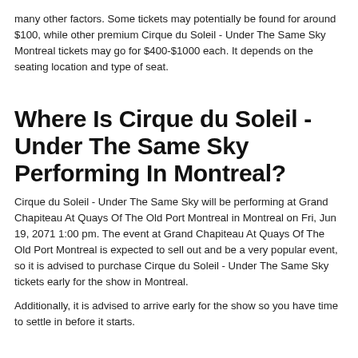many other factors. Some tickets may potentially be found for around $100, while other premium Cirque du Soleil - Under The Same Sky Montreal tickets may go for $400-$1000 each. It depends on the seating location and type of seat.
Where Is Cirque du Soleil - Under The Same Sky Performing In Montreal?
Cirque du Soleil - Under The Same Sky will be performing at Grand Chapiteau At Quays Of The Old Port Montreal in Montreal on Fri, Jun 19, 2071 1:00 pm. The event at Grand Chapiteau At Quays Of The Old Port Montreal is expected to sell out and be a very popular event, so it is advised to purchase Cirque du Soleil - Under The Same Sky tickets early for the show in Montreal.
Additionally, it is advised to arrive early for the show so you have time to settle in before it starts.